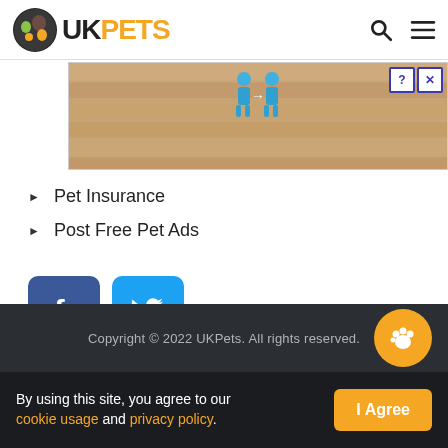UKPETS
[Figure (screenshot): Advertisement banner with wooden background and blue figures, text: 'Hold and Move']
Pet Insurance
Post Free Pet Ads
[Figure (illustration): Facebook and Twitter social media icon buttons]
Copyright © 2022 UKPets. All rights reserved.
By using this site, you agree to our cookie usage and privacy policy.